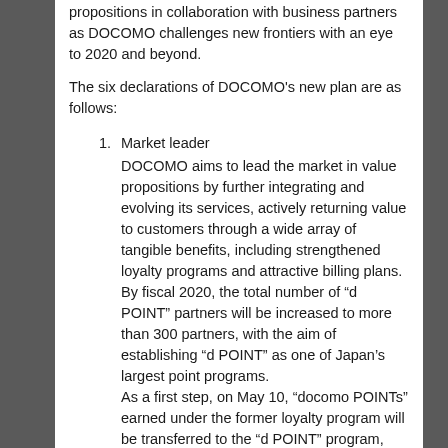propositions in collaboration with business partners as DOCOMO challenges new frontiers with an eye to 2020 and beyond.
The six declarations of DOCOMO's new plan are as follows:
Market leader
DOCOMO aims to lead the market in value propositions by further integrating and evolving its services, actively returning value to customers through a wide array of tangible benefits, including strengthened loyalty programs and attractive billing plans. By fiscal 2020, the total number of “d POINT” partners will be increased to more than 300 partners, with the aim of establishing “d POINT” as one of Japan’s largest point programs.
As a first step, on May 10, “docomo POINTs” earned under the former loyalty program will be transferred to the “d POINT” program, extending the validity period of the points and